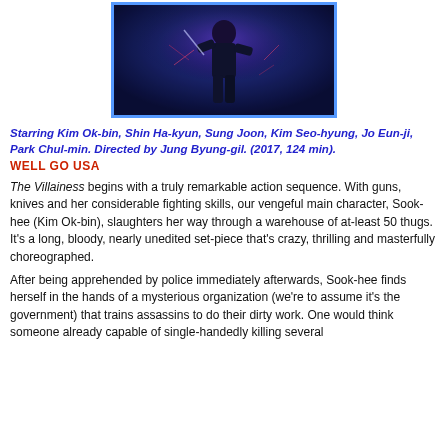[Figure (photo): Movie poster/still image from The Villainess showing a dark figure in action pose with blue border]
Starring Kim Ok-bin, Shin Ha-kyun, Sung Joon, Kim Seo-hyung, Jo Eun-ji, Park Chul-min. Directed by Jung Byung-gil. (2017, 124 min).
WELL GO USA
The Villainess begins with a truly remarkable action sequence. With guns, knives and her considerable fighting skills, our vengeful main character, Sook-hee (Kim Ok-bin), slaughters her way through a warehouse of at-least 50 thugs. It's a long, bloody, nearly unedited set-piece that's crazy, thrilling and masterfully choreographed.
After being apprehended by police immediately afterwards, Sook-hee finds herself in the hands of a mysterious organization (we're to assume it's the government) that trains assassins to do their dirty work. One would think someone already capable of single-handedly killing several